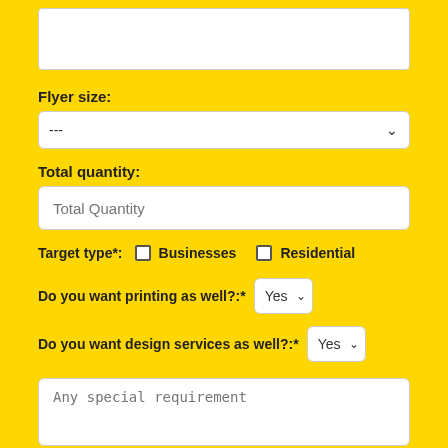[Figure (screenshot): Textarea at top, partially visible, empty white input box]
Flyer size:
[Figure (screenshot): Dropdown select field with value '---' and a chevron arrow]
Total quantity:
[Figure (screenshot): Text input field with placeholder 'Total Quantity']
Target type*:  Businesses  Residential
Do you want printing as well?:*  Yes ▾
Do you want design services as well?:*  Yes ▾
[Figure (screenshot): Textarea with placeholder 'Any special requirement']